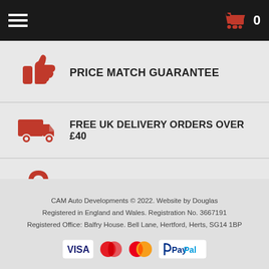Navigation bar with hamburger menu and cart (0)
PRICE MATCH GUARANTEE
FREE UK DELIVERY ORDERS OVER £40
SAFE & SECURE ORDERING
CAM Auto Developments © 2022. Website by Douglas
Registered in England and Wales. Registration No. 3667191
Registered Office: Balfry House. Bell Lane, Hertford, Herts, SG14 1BP